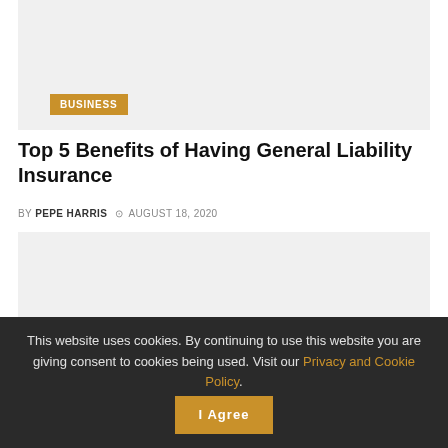[Figure (photo): Top image placeholder — light gray rectangle with a 'BUSINESS' badge overlay]
Top 5 Benefits of Having General Liability Insurance
BY PEPE HARRIS  ⊙ AUGUST 18, 2020
[Figure (photo): Second image placeholder — light gray rectangle]
This website uses cookies. By continuing to use this website you are giving consent to cookies being used. Visit our Privacy and Cookie Policy.